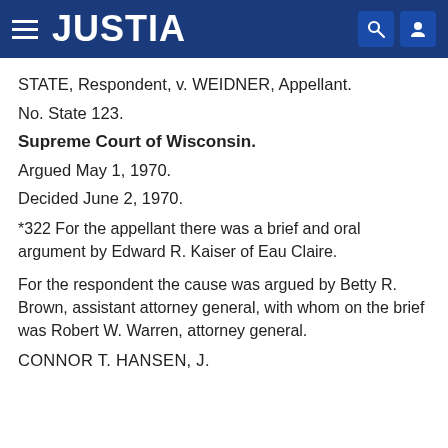JUSTIA
STATE, Respondent, v. WEIDNER, Appellant.
No. State 123.
Supreme Court of Wisconsin.
Argued May 1, 1970.
Decided June 2, 1970.
*322 For the appellant there was a brief and oral argument by Edward R. Kaiser of Eau Claire.
For the respondent the cause was argued by Betty R. Brown, assistant attorney general, with whom on the brief was Robert W. Warren, attorney general.
CONNOR T. HANSEN, J.